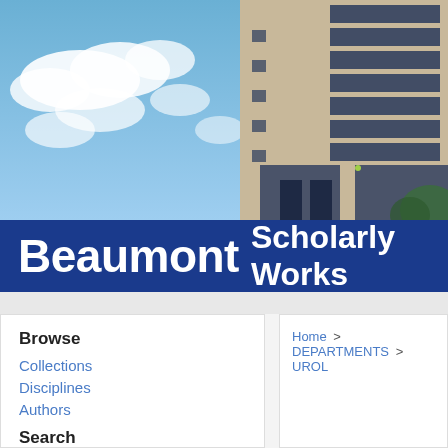[Figure (photo): Exterior photo of a tall beige office/hospital building with dark glass windows against a partly cloudy blue sky]
Beaumont Scholarly Works
Browse
Collections
Disciplines
Authors
Search
Home > DEPARTMENTS > UROL